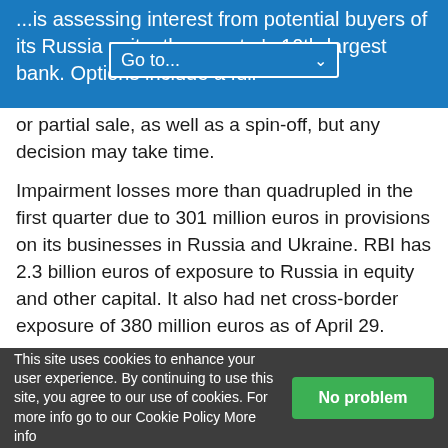...is assessing interest from potential buyers of its Russia unit – the country's 10th-largest bank. Options include a full or partial sale, as well as a spin-off, but any decision may take time.
Impairment losses more than quadrupled in the first quarter due to 301 million euros in provisions on its businesses in Russia and Ukraine. RBI has 2.3 billion euros of exposure to Russia in equity and other capital. It also had net cross-border exposure of 380 million euros as of April 29.
SOCIETE GENERALE
The French bank has sold Russian unit Rosbank to Interros Capital, a company
This site uses cookies to enhance your user experience. By continuing to use this site, you agree to our use of cookies. For more info go to our Cookie Policy More info